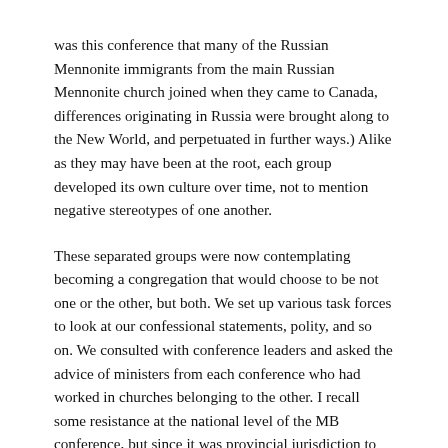was this conference that many of the Russian Mennonite immigrants from the main Russian Mennonite church joined when they came to Canada, differences originating in Russia were brought along to the New World, and perpetuated in further ways.) Alike as they may have been at the root, each group developed its own culture over time, not to mention negative stereotypes of one another.
These separated groups were now contemplating becoming a congregation that would choose to be not one or the other, but both. We set up various task forces to look at our confessional statements, polity, and so on. We consulted with conference leaders and asked the advice of ministers from each conference who had worked in churches belonging to the other. I recall some resistance at the national level of the MB conference, but since it was provincial jurisdiction to accept new churches and provincially, both denominations,